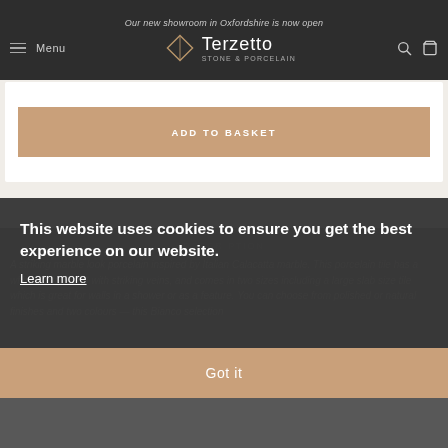Our new showroom in Oxfordshire is now open
[Figure (logo): Terzetto Stone & Porcelain logo with diamond shaped icon]
ADD TO BASKET
DESCRIPTION
A striking marble look porcelain inspired by Italian Calacatta marble. This porcelain tile has a white background with striking veins, and comes in two sizes including a large slab size tile which is great for walls in a shower or as a feature. You can choose from polished or natural finishes and two colours — this Bianco selection
This website uses cookies to ensure you get the best experience on our website.
Learn more
Got it